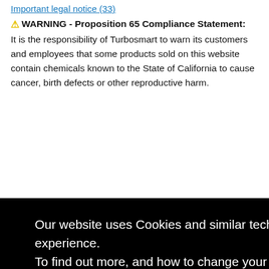Important legal notice (33)
⚠ WARNING - Proposition 65 Compliance Statement:
It is the responsibility of Turbosmart to warn its customers and employees that some products sold on this website contain chemicals known to the State of California to cause cancer, birth defects or other reproductive harm.
Our website uses Cookies and similar technologies, to give you the best online experience.
To find out more, and how to change your settings, you can read our Privacy Policy here. By continuing to use our site you agree to the use of cookies.
I Accept